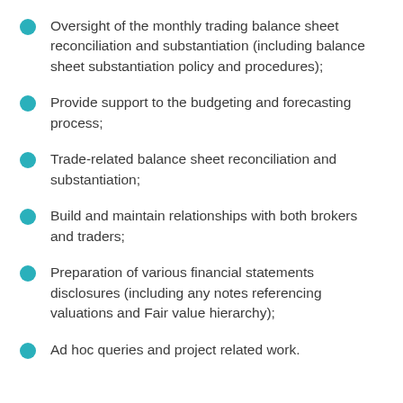Oversight of the monthly trading balance sheet reconciliation and substantiation (including balance sheet substantiation policy and procedures);
Provide support to the budgeting and forecasting process;
Trade-related balance sheet reconciliation and substantiation;
Build and maintain relationships with both brokers and traders;
Preparation of various financial statements disclosures (including any notes referencing valuations and Fair value hierarchy);
Ad hoc queries and project related work.